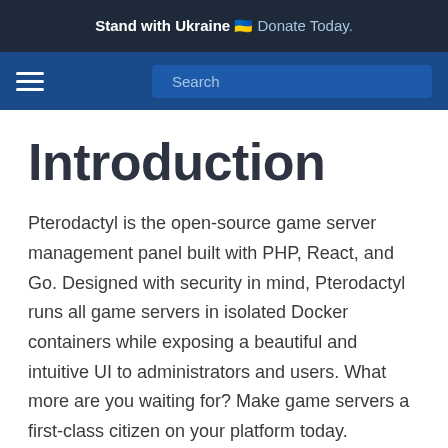Stand with Ukraine 🇺🇦 Donate Today.
Introduction
Pterodactyl is the open-source game server management panel built with PHP, React, and Go. Designed with security in mind, Pterodactyl runs all game servers in isolated Docker containers while exposing a beautiful and intuitive UI to administrators and users. What more are you waiting for? Make game servers a first-class citizen on your platform today.